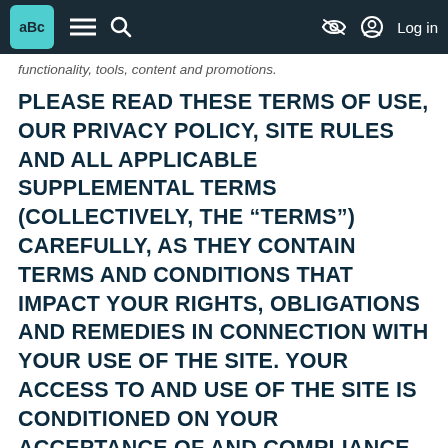aBc [nav bar with hamburger menu, search, eye-slash icon, and Log in]
functionality, tools, content and promotions.
PLEASE READ THESE TERMS OF USE, OUR PRIVACY POLICY, SITE RULES AND ALL APPLICABLE SUPPLEMENTAL TERMS (COLLECTIVELY, THE “TERMS”) CAREFULLY, AS THEY CONTAIN TERMS AND CONDITIONS THAT IMPACT YOUR RIGHTS, OBLIGATIONS AND REMEDIES IN CONNECTION WITH YOUR USE OF THE SITE. YOUR ACCESS TO AND USE OF THE SITE IS CONDITIONED ON YOUR ACCEPTANCE OF AND COMPLIANCE WITH THESE TERMS.